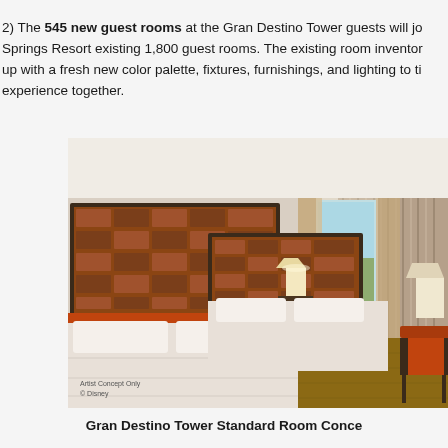2) The 545 new guest rooms at the Gran Destino Tower guests will jo... Springs Resort existing 1,800 guest rooms. The existing room inventor... up with a fresh new color palette, fixtures, furnishings, and lighting to ti... experience together.
[Figure (photo): Artist concept rendering of Gran Destino Tower Standard Room showing two queen beds with terracotta/copper headboards, white bedding, wood floor, sheer curtains, and a view through glass doors to trees and blue sky. An orange armchair is visible in the right corner. Text overlay reads 'Artist Concept Only © Disney'.]
Gran Destino Tower Standard Room Conce...